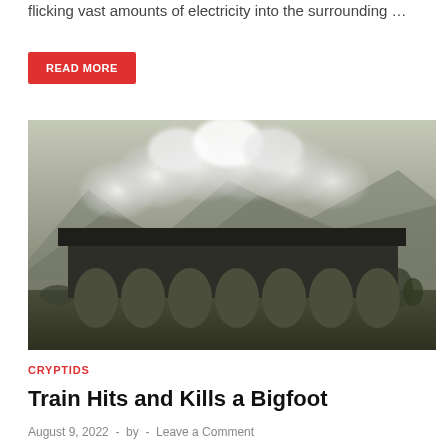flicking vast amounts of electricity into the surrounding …
READ MORE
[Figure (photo): Black and white / desaturated photo of a steam train crossing a large stone viaduct with arched supports, billowing white steam clouds above, misty mountains in the background, and sparse vegetation in the foreground.]
CRYPTIDS
Train Hits and Kills a Bigfoot
August 9, 2022  -  by  -  Leave a Comment